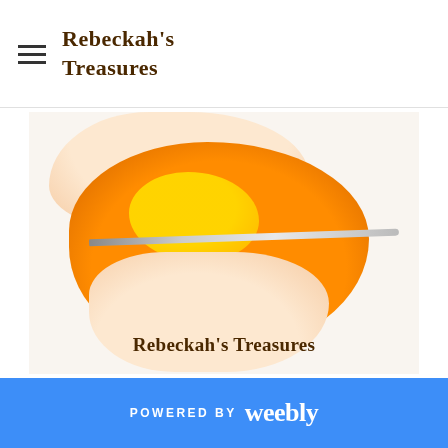Rebeckah's Treasures
[Figure (photo): Close-up photograph of a hand holding an orange crocheted piece with a crochet hook/needle inserted through it. Yellow yarn is visible on top. Watermark text 'Rebeckah's Treasures' appears at the bottom of the image.]
POWERED BY weebly